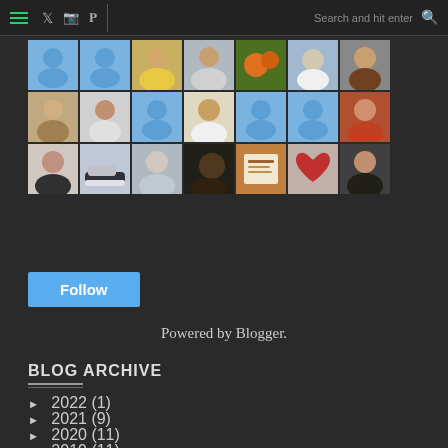☰ Twitter Instagram Pinterest | Search and hit enter 🔍
[Figure (photo): Grid of follower avatar thumbnails — two rows of 10 avatars each, some are blue placeholder person icons, others are real profile photos. A third row has 1 avatar.]
Follow
Powered by Blogger.
BLOG ARCHIVE
► 2022 (1)
► 2021 (9)
► 2020 (11)
► 2019 (11)